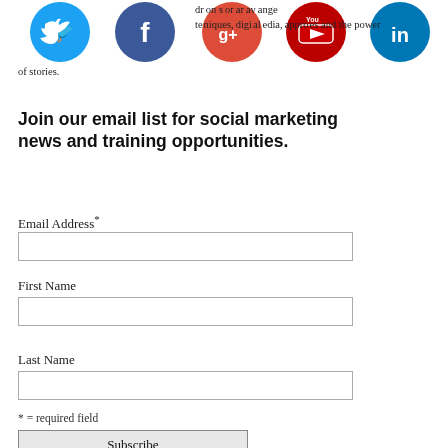[Figure (illustration): Social media icons: Twitter (blue bird), Facebook (blue f), Google+ (red G+), YouTube (red play button), LinkedIn (blue in)]
dr on s or ar av ange techniques, digital media approaches and the power of stories.
Join our email list for social marketing news and training opportunities.
Email Address*
First Name
Last Name
* = required field
Subscribe